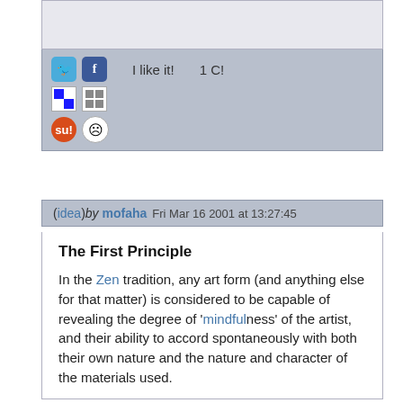[Figure (screenshot): Social sharing panel with Twitter, Facebook, Delicious, Myspace, StumbleUpon, and Reddit icons, plus 'I like it!' and '1 C!' buttons]
(idea) by mofaha  Fri Mar 16 2001 at 13:27:45
The First Principle
In the Zen tradition, any art form (and anything else for that matter) is considered to be capable of revealing the degree of 'mindfulness' of the artist, and their ability to accord spontaneously with both their own nature and the nature and character of the materials used.